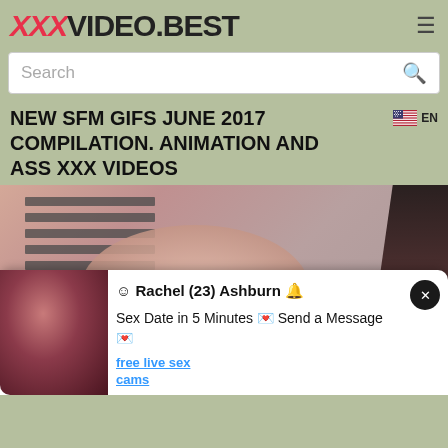XXXVIDEO.BEST
Search
NEW SFM GIFS JUNE 2017 COMPILATION. ANIMATION AND ASS XXX VIDEOS
EN
[Figure (screenshot): Video thumbnail showing blurred adult content with horizontal stripes in upper left and dark shape on right side]
☺ Rachel (23) Ashburn 🔔 Sex Date in 5 Minutes 💌 Send a Message 💌
free live sex cams